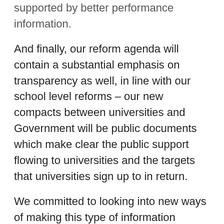supported by better performance information.
And finally, our reform agenda will contain a substantial emphasis on transparency as well, in line with our school level reforms – our new compacts between universities and Government will be public documents which make clear the public support flowing to universities and the targets that universities sign up to in return.
We committed to looking into new ways of making this type of information readily available to prospective students so that student choice – the centre of our new system – is properly informed by measures of university quality.
What do we want from the sector?